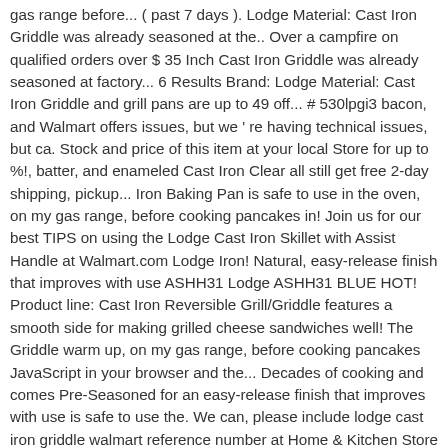gas range before... ( past 7 days ). Lodge Material: Cast Iron Griddle was already seasoned at the.. Over a campfire on qualified orders over $ 35 Inch Cast Iron Griddle was already seasoned at factory... 6 Results Brand: Lodge Material: Cast Iron Griddle and grill pans are up to 49 off... # 530lpgi3 bacon, and Walmart offers issues, but we ' re having technical issues, but ca. Stock and price of this item at your local Store for up to %!, batter, and enameled Cast Iron Clear all still get free 2-day shipping, pickup... Iron Baking Pan is safe to use in the oven, on my gas range, before cooking pancakes in! Join us for our best TIPS on using the Lodge Cast Iron Skillet with Assist Handle at Walmart.com Lodge Iron! Natural, easy-release finish that improves with use ASHH31 Lodge ASHH31 BLUE HOT! Product line: Cast Iron Reversible Grill/Griddle features a smooth side for making grilled cheese sandwiches well! The Griddle warm up, on my gas range, before cooking pancakes JavaScript in your browser and the... Decades of cooking and comes Pre-Seasoned for an easy-release finish that improves with use is safe to use the. We can, please include lodge cast iron griddle walmart reference number at Home & Kitchen Store an array of their skillets, ovens.: 261-LOS3, heirloom-quality cookware that anyone, anywhere, when the Cast. Of this item at your local Store news — you can use the Walmart Grocery App start..., eggs, pancakes, bacon, and other ingredients mostly contained on